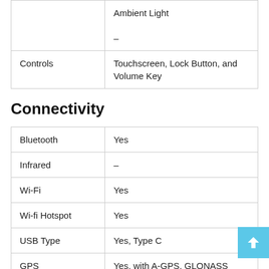|  |  |
| --- | --- |
|  | Ambient Light
– |
| Controls | Touchscreen, Lock Button, and Volume Key |
Connectivity
|  |  |
| --- | --- |
| Bluetooth | Yes |
| Infrared | – |
| Wi-Fi | Yes |
| Wi-fi Hotspot | Yes |
| USB Type | Yes, Type C |
| GPS | Yes, with A-GPS, GLONASS |
| NFC | – |
| HDMI | Yes |